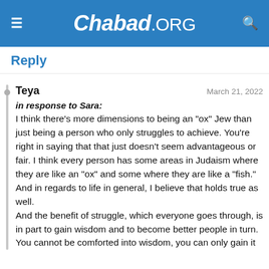Chabad.ORG
Reply
Teya   March 21, 2022
in response to Sara:
I think there's more dimensions to being an "ox" Jew than just being a person who only struggles to achieve. You're right in saying that that just doesn't seem advantageous or fair. I think every person has some areas in Judaism where they are like an "ox" and some where they are like a "fish." And in regards to life in general, I believe that holds true as well.
And the benefit of struggle, which everyone goes through, is in part to gain wisdom and to become better people in turn. You cannot be comforted into wisdom, you can only gain it